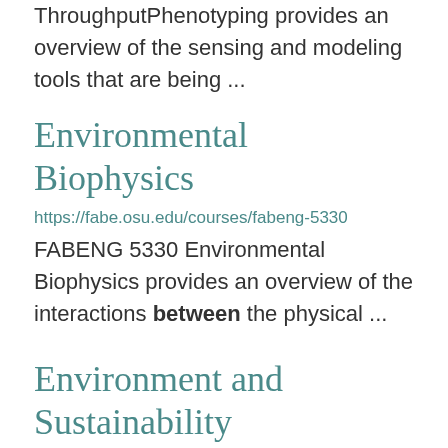ThroughputPhenotyping provides an overview of the sensing and modeling tools that are being ...
Environmental Biophysics
https://fabe.osu.edu/courses/fabeng-5330
FABENG 5330 Environmental Biophysics provides an overview of the interactions between the physical ...
Environment and Sustainability
https://fabe.osu.edu/research/environment-and-sustainability
Topics of Research Agricultural air emissions Air, soil, and water quality Cli...